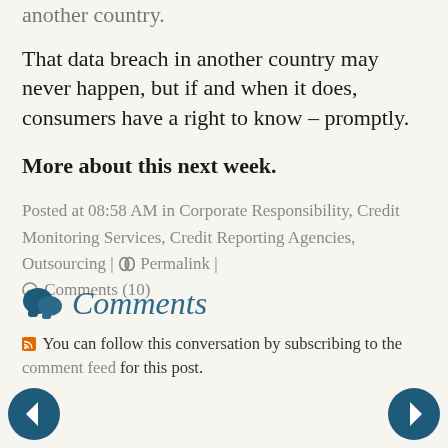another country.
That data breach in another country may never happen, but if and when it does, consumers have a right to know – promptly.
More about this next week.
Posted at 08:58 AM in Corporate Responsibility, Credit Monitoring Services, Credit Reporting Agencies, Outsourcing | ⛓ Permalink | ○ Comments (10)
Comments
You can follow this conversation by subscribing to the comment feed for this post.